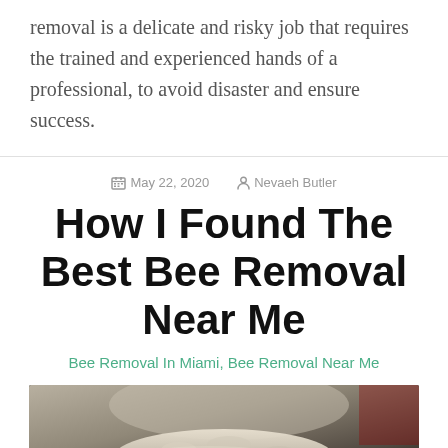removal is a delicate and risky job that requires the trained and experienced hands of a professional, to avoid disaster and ensure success.
May 22, 2020   Nevaeh Butler
How I Found The Best Bee Removal Near Me
Bee Removal In Miami, Bee Removal Near Me
[Figure (photo): Close-up photo of a bee or bee-related subject with dark/light contrast background]